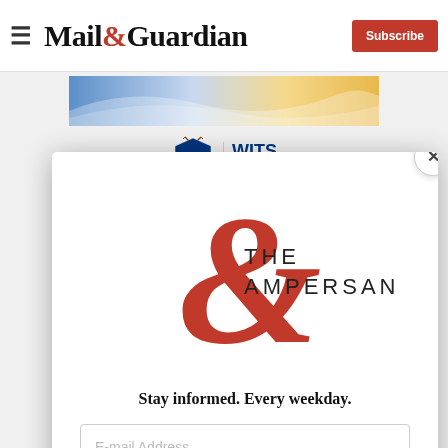Mail&Guardian | Subscribe
[Figure (illustration): Decorative banner advertisement with blue and gold wave design]
[Figure (logo): Wits University crest and WITS PLUS logo]
[Figure (logo): The Ampersand newsletter logo - large red ampersand with THE AMPERSAND text]
Stay informed. Every weekday.
E-mail Address
Signup now